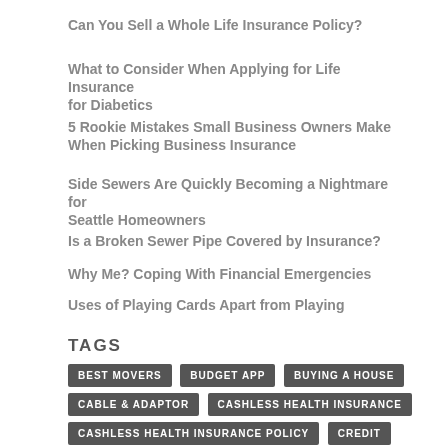Can You Sell a Whole Life Insurance Policy?
What to Consider When Applying for Life Insurance for Diabetics
5 Rookie Mistakes Small Business Owners Make When Picking Business Insurance
Side Sewers Are Quickly Becoming a Nightmare for Seattle Homeowners
Is a Broken Sewer Pipe Covered by Insurance?
Why Me? Coping With Financial Emergencies
Uses of Playing Cards Apart from Playing
TAGS
BEST MOVERS
BUDGET APP
BUYING A HOUSE
CABLE & ADAPTOR
CASHLESS HEALTH INSURANCE
CASHLESS HEALTH INSURANCE POLICY
CREDIT